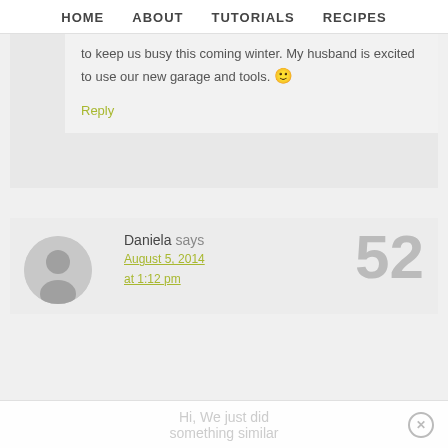HOME  ABOUT  TUTORIALS  RECIPES
to keep us busy this coming winter. My husband is excited to use our new garage and tools. 🙂
Reply
Daniela says
August 5, 2014 at 1:12 pm
52
Hi, We just did something similar...